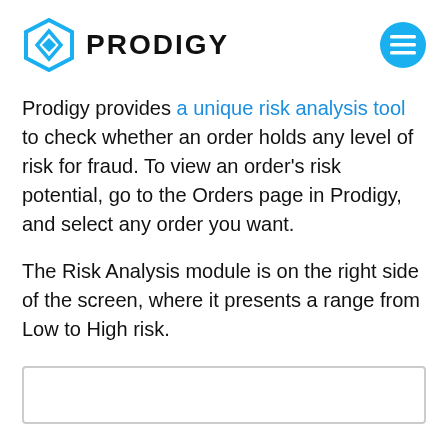PRODIGY
Prodigy provides a unique risk analysis tool to check whether an order holds any level of risk for fraud. To view an order's risk potential, go to the Orders page in Prodigy, and select any order you want.
The Risk Analysis module is on the right side of the screen, where it presents a range from Low to High risk.
[Figure (screenshot): Screenshot placeholder box (partially visible at bottom of page)]